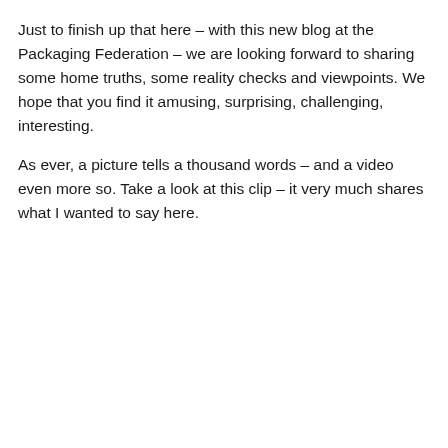Just to finish up that here – with this new blog at the Packaging Federation – we are looking forward to sharing some home truths,  some reality checks and viewpoints. We hope that you find it amusing, surprising, challenging, interesting.
As ever, a picture tells a thousand words – and a video even more so. Take a look at this clip – it very much shares what I wanted to say here.
[Figure (screenshot): Embedded video thumbnail showing 'Recycling a bottle, flashmob style! [...]' with a teal circle icon with letter O, overlaid by a cookie consent banner: 'Privacy & Cookies: This site uses cookies. By continuing to use this website, you agree to their use. To find out more, including how to control cookies, see here: Cookie Policy' with a 'Close and accept' button.]